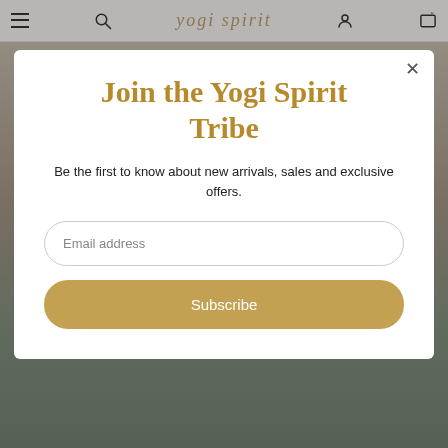yogi spirit — navigation bar with hamburger menu, search, account, and cart icons
[Figure (screenshot): Background website page showing a person in yoga/athletic wear, dimmed behind the modal overlay]
Join the Yogi Spirit Tribe
Be the first to know about new arrivals, sales and exclusive offers.
Email address
Subscribe